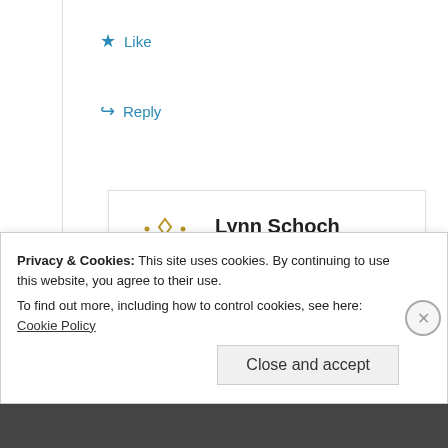★ Like
↪ Reply
Lynn Schoch
February 1, 2012 at 3:56 am
When will Excedrin be back on the shelves. I hope very, very soon.
Privacy & Cookies: This site uses cookies. By continuing to use this website, you agree to their use.
To find out more, including how to control cookies, see here: Cookie Policy
Close and accept